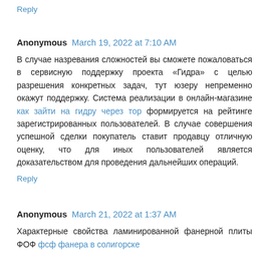Reply
Anonymous March 19, 2022 at 7:10 AM
В случае назревания сложностей вы сможете пожаловаться в сервисную поддержку проекта «Гидра» с целью разрешения конкретных задач, тут юзеру непременно окажут поддержку. Система реализации в онлайн-магазине как зайти на гидру через тор формируется на рейтинге зарегистрированных пользователей. В случае совершения успешной сделки покупатель ставит продавцу отличную оценку, что для иных пользователей является доказательством для проведения дальнейших операций.
Reply
Anonymous March 21, 2022 at 1:37 AM
Характерные свойства ламинированной фанерной плиты ФОФ фсф фанера в солигорске